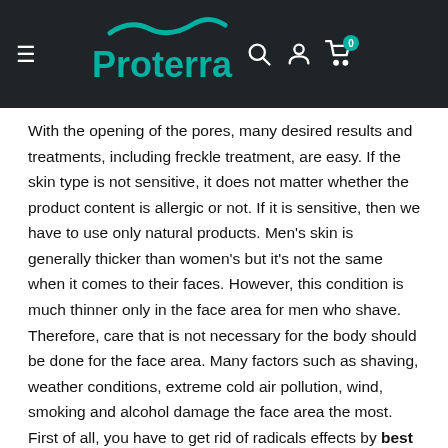Proterra — navigation header with logo, search, account, and cart icons
With the opening of the pores, many desired results and treatments, including freckle treatment, are easy. If the skin type is not sensitive, it does not matter whether the product content is allergic or not. If it is sensitive, then we have to use only natural products. Men's skin is generally thicker than women's but it's not the same when it comes to their faces. However, this condition is much thinner only in the face area for men who shave. Therefore, care that is not necessary for the body should be done for the face area. Many factors such as shaving, weather conditions, extreme cold air pollution, wind, smoking and alcohol damage the face area the most. First of all, you have to get rid of radicals effects by best skin care products for black men. Thus, you will cleanse and see the best effect of products and have the best treatment.
Regardless of African American skin types, you should buy the